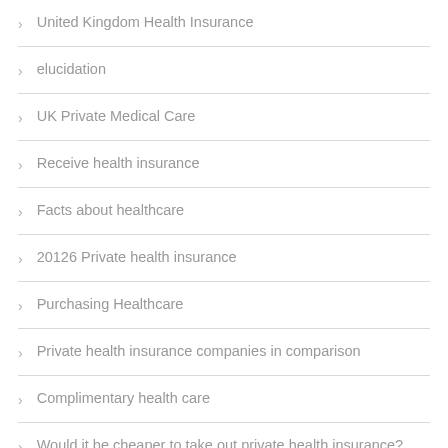United Kingdom Health Insurance
elucidation
UK Private Medical Care
Receive health insurance
Facts about healthcare
20126 Private health insurance
Purchasing Healthcare
Private health insurance companies in comparison
Complimentary health care
Would it be cheaper to take out private health insurance?
Into healthcare
How's the healthcare reform?
Accessible health insurance for individuals
The best private health plans
Preventive personal health plans